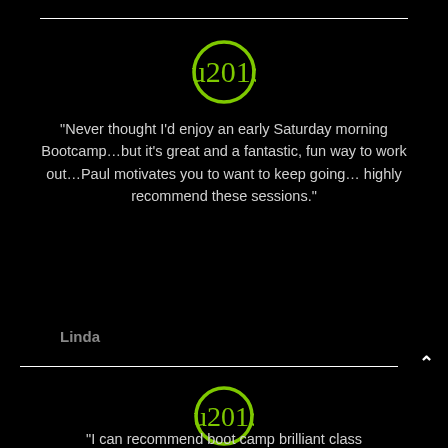[Figure (illustration): Green circle with double closing quotation marks inside, used as a decorative quote icon]
“Never thought I’d enjoy an early Saturday morning Bootcamp…but it’s great and a fantastic, fun way to work out…Paul motivates you to want to keep going… highly recommend these sessions.”
Linda
[Figure (illustration): Green circle with double closing quotation marks inside, used as a decorative quote icon]
“I can recommend boot camp brilliant class